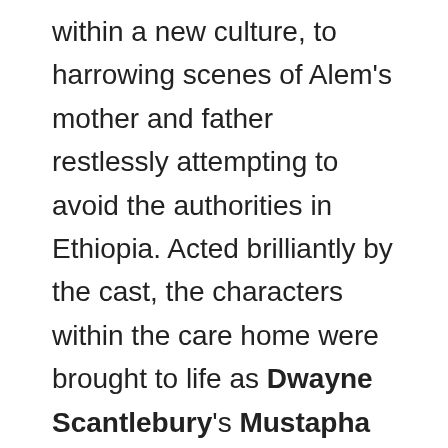within a new culture, to harrowing scenes of Alem's mother and father restlessly attempting to avoid the authorities in Ethiopia. Acted brilliantly by the cast, the characters within the care home were brought to life as Dwayne Scantlebury's Mustapha comically preached and delivered many a speech, whilst Dominic Gately's unruly Sweeney jovially jumped around; the resident trouble maker ready to strike at any given moment. This created a youthful dynamic between Mustapha, Sweeney and Alem, an endearing element of the piece looking